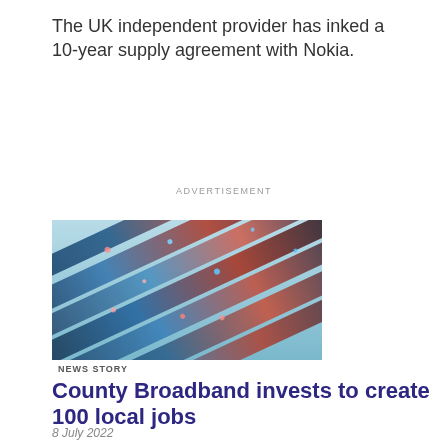The UK independent provider has inked a 10-year supply agreement with Nokia.
ADVERTISEMENT
[Figure (photo): Close-up photo of illuminated fiber optic cables or broadband cables, showing multiple colorful glowing strands against a light blue background.]
NEWS STORY
County Broadband invests to create 100 local jobs
8 July 2022
UK alternative rural full-fibre provider, County Broadband has committed to creating a 270-strong